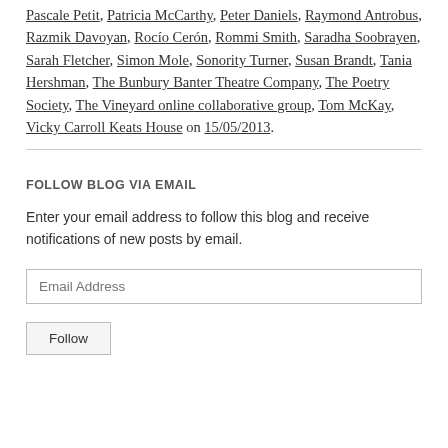Pascale Petit, Patricia McCarthy, Peter Daniels, Raymond Antrobus, Razmik Davoyan, Rocío Cerón, Rommi Smith, Saradha Soobrayen, Sarah Fletcher, Simon Mole, Sonority Turner, Susan Brandt, Tania Hershman, The Bunbury Banter Theatre Company, The Poetry Society, The Vineyard online collaborative group, Tom McKay, Vicky Carroll Keats House on 15/05/2013.
FOLLOW BLOG VIA EMAIL
Enter your email address to follow this blog and receive notifications of new posts by email.
Email Address
Follow